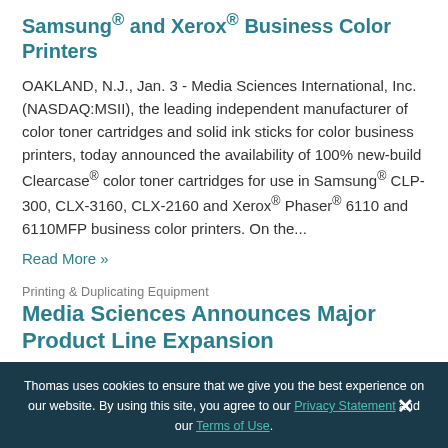Samsung® and Xerox® Business Color Printers
OAKLAND, N.J., Jan. 3 - Media Sciences International, Inc. (NASDAQ:MSII), the leading independent manufacturer of color toner cartridges and solid ink sticks for color business printers, today announced the availability of 100% new-build Clearcase® color toner cartridges for use in Samsung® CLP-300, CLX-3160, CLX-2160 and Xerox® Phaser® 6110 and 6110MFP business color printers. On the...
Read More »
Printing & Duplicating Equipment
Media Sciences Announces Major Product Line Expansion
Thomas uses cookies to ensure that we give you the best experience on our website. By using this site, you agree to our Privacy Statement and our Terms of Use.